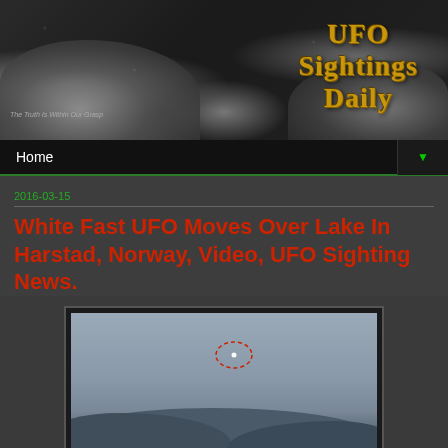[Figure (illustration): UFO Sightings Daily website banner with rocky moonscape background and gold stylized text]
Home
2016-03-15
White Fast UFO Moves Over Lake In Harstad, Norway, Video, UFO Sighting News.
[Figure (photo): Blurry sky and mountain/lake landscape photo with a white dot circled in red dashed line indicating a UFO sighting over Harstad, Norway]